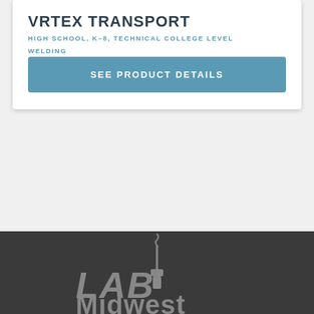VRTEX TRANSPORT
HIGH SCHOOL, K-8, TECHNICAL COLLEGE LEVEL WELDING
SEE PRODUCT DETAILS
[Figure (logo): LAB Midwest logo with welding torch graphic on dark background]